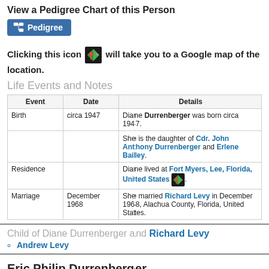View a Pedigree Chart of this Person
[Figure (other): Blue Pedigree button with pedigree icon]
Clicking this icon [map icon] will take you to a Google map of the location.
Life Events and Notes
| Event | Date | Details |
| --- | --- | --- |
| Birth | circa 1947 | Diane Durrenberger was born circa 1947. |
|  |  | She is the daughter of Cdr. John Anthony Durrenberger and Erlene Bailey. |
| Residence |  | Diane lived at Fort Myers, Lee, Florida, United States [map icon]. |
| Marriage | December 1968 | She married Richard Levy in December 1968, Alachua County, Florida, United States. |
Child of Diane Durrenberger and Richard Levy
Andrew Levy
Eric Philip Durrenberger